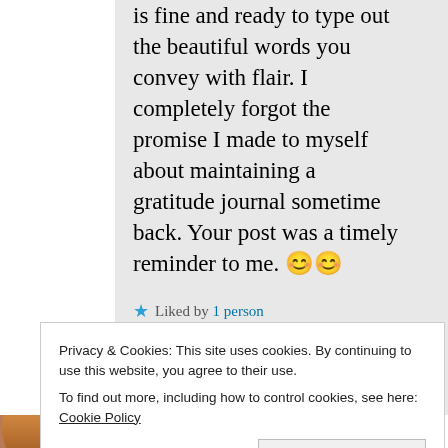is fine and ready to type out the beautiful words you convey with flair. I completely forgot the promise I made to myself about maintaining a gratitude journal sometime back. Your post was a timely reminder to me. 😊😊
★ Liked by 1 person
Privacy & Cookies: This site uses cookies. By continuing to use this website, you agree to their use.
To find out more, including how to control cookies, see here: Cookie Policy
Close and accept
My Era